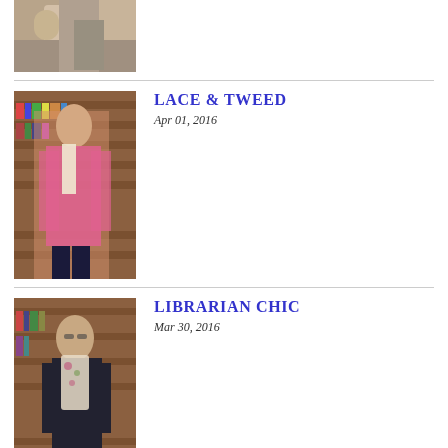[Figure (photo): Partial photo of person in tan/beige coat, top of page, cropped]
[Figure (photo): Person in pink jacket standing in front of bookshelves in a library]
LACE & TWEED
Apr 01, 2016
[Figure (photo): Person in black top with floral scarf in library setting]
LIBRARIAN CHIC
Mar 30, 2016
HAPPY THOUGHTS